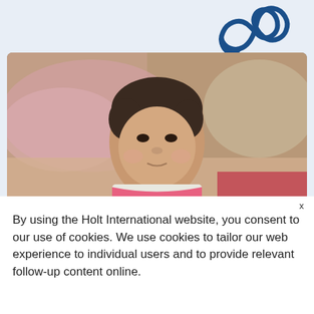[Figure (logo): Holt International logo — two overlapping circular loops in dark blue, forming an infinity-like symbol with an arrow]
[Figure (photo): Young Asian child sitting on a bed with pink pillows and bedding, wearing a white shirt with pink collar, looking at camera]
X
By using the Holt International website, you consent to our use of cookies. We use cookies to tailor our web experience to individual users and to provide relevant follow-up content online.